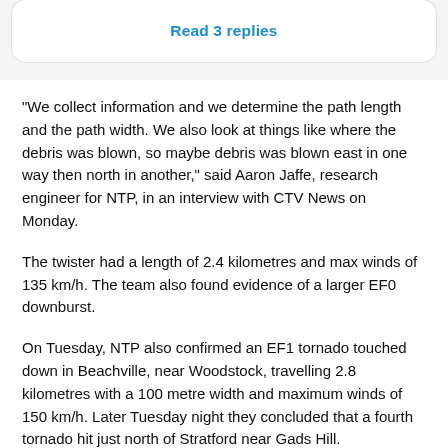Read 3 replies
“We collect information and we determine the path length and the path width. We also look at things like where the debris was blown, so maybe debris was blown east in one way then north in another,” said Aaron Jaffe, research engineer for NTP, in an interview with CTV News on Monday.
The twister had a length of 2.4 kilometres and max winds of 135 km/h. The team also found evidence of a larger EF0 downburst.
On Tuesday, NTP also confirmed an EF1 tornado touched down in Beachville, near Woodstock, travelling 2.8 kilometres with a 100 metre width and maximum winds of 150 km/h. Later Tuesday night they concluded that a fourth tornado hit just north of Stratford near Gads Hill.